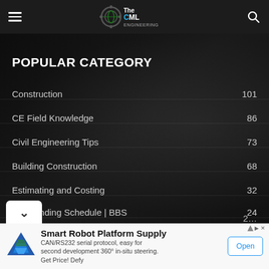The Civil ML Engineering
POPULAR CATEGORY
Construction  101
CE Field Knowledge  86
Civil Engineering Tips  73
Building Construction  68
Estimating and Costing  32
Bar Bending Schedule | BBS  24
[Figure (screenshot): Advertisement banner for Smart Robot Platform Supply showing a blue geometric logo, text 'CAN/RS232 serial protocol, easy for second development 360° in-situ steering. Get Price! Defy', and an Open button.]